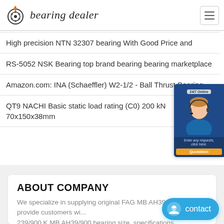bearing dealer
High precision NTN 32307 bearing With Good Price and
RS-5052 NSK Bearing top brand bearing bearing marketplace
Amazon.com: INA (Schaeffler) W2-1/2 - Ball Thrust Bearing
QT9 NACHI Basic static load rating (C0) 200 kN 70x150x38mm
[Figure (photo): 24/7 Online chat widget with customer service representative and Quotation button]
ABOUT COMPANY
We specialize in supplying original FAG MB AH39/900 and provide customers wi... 239/900 K MB AH39/900 bearing size, specifications
[Figure (other): Blue contact button with smiley icon]